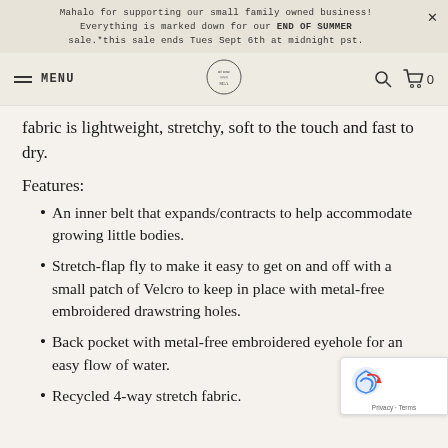Mahalo for supporting our small family owned business! Everything is marked down for our END OF SUMMER sale.*this sale ends Tues Sept 6th at midnight pst.
MENU | [logo] | [search] | [cart] 0
fabric is lightweight, stretchy, soft to the touch and fast to dry.
Features:
An inner belt that expands/contracts to help accommodate growing little bodies.
Stretch-flap fly to make it easy to get on and off with a small patch of Velcro to keep in place with metal-free embroidered drawstring holes.
Back pocket with metal-free embroidered eyehole for an easy flow of water.
Recycled 4-way stretch fabric.